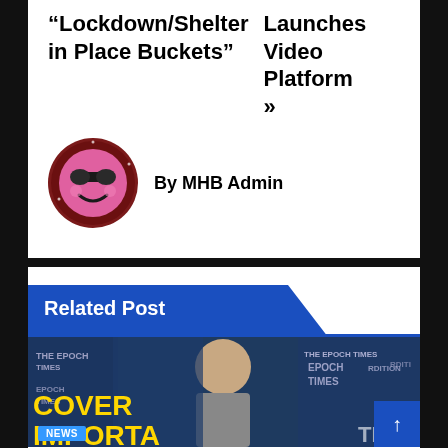“Lockdown/Shelter in Place Buckets”
Launches Video Platform »
By MHB Admin
Related Post
[Figure (photo): News article thumbnail showing a bald man in front of Epoch Times banners with overlay text 'COVER IMPORTA...' in yellow, and a blue 'News' label badge]